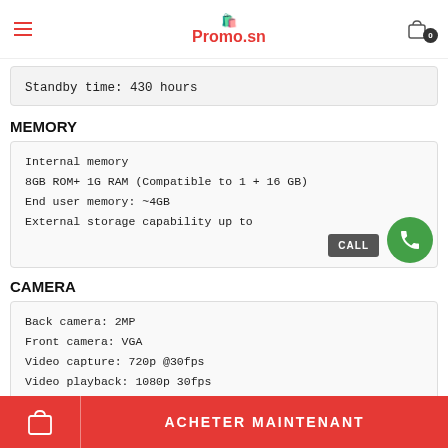Promo.sn
Standby time: 430 hours
MEMORY
Internal memory
8GB ROM+ 1G RAM (Compatible to 1 + 16 GB)
End user memory: ~4GB
External storage capability up to
CAMERA
Back camera: 2MP
Front camera: VGA
Video capture: 720p @30fps
Video playback: 1080p 30fps
HDR
ACHETER MAINTENANT